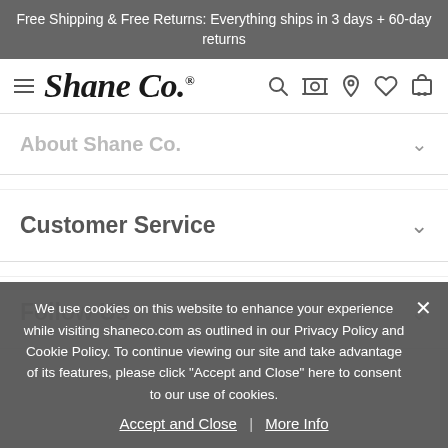Free Shipping & Free Returns: Everything ships in 3 days + 60-day returns
[Figure (logo): Shane Co. logo with hamburger menu icon and navigation icons (search, camera, location, heart, cart)]
About Shane Co.
Customer Service
Follow Us
We use cookies on this website to enhance your experience while visiting shaneco.com as outlined in our Privacy Policy and Cookie Policy. To continue viewing our site and take advantage of its features, please click "Accept and Close" here to consent to our use of cookies.
Accept and Close | More Info